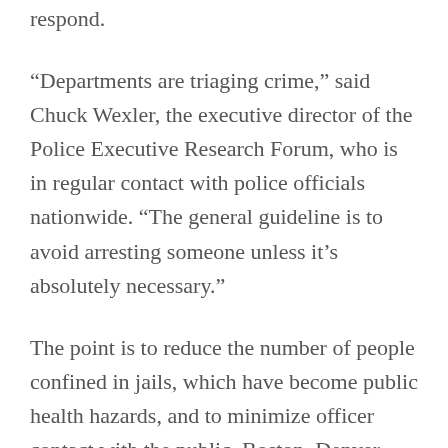respond.
“Departments are triaging crime,” said Chuck Wexler, the executive director of the Police Executive Research Forum, who is in regular contact with police officials nationwide. “The general guideline is to avoid arresting someone unless it’s absolutely necessary.”
The point is to reduce the number of people confined in jails, which have become public health hazards, and to minimize officer contact with the public. Boston, Denver, Los Angeles and Miami all are showing a reduction in arrests. Mr.